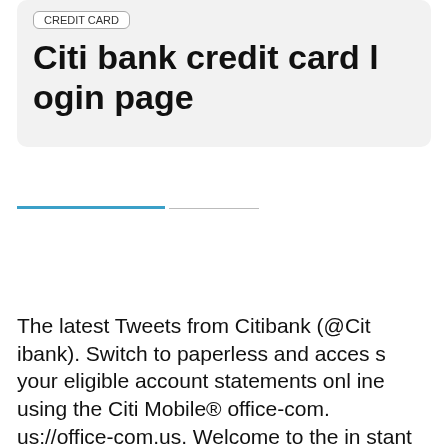Citi bank credit card login page
[Figure (screenshot): Tab navigation bar with blue active tab underline and grey inactive tab underline]
The latest Tweets from Citibank (@Citibank). Switch to paperless and access your eligible account statements online using the Citi Mobile® office-com.us://office-com.us. Welcome to the instant online payment enquiry tool to check on the status of your recent (last 30 days) credit card payment via ePa...